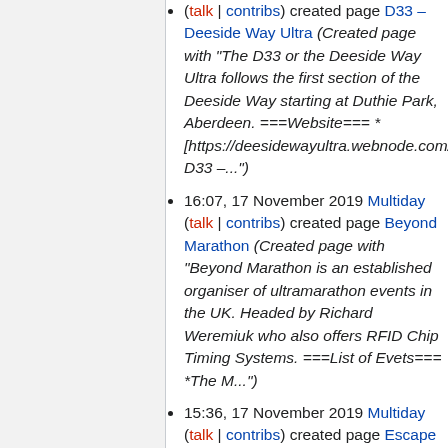(talk | contribs) created page D33 – Deeside Way Ultra (Created page with "The D33 or the Deeside Way Ultra follows the first section of the Deeside Way starting at Duthie Park, Aberdeen. ===Website=== * [https://deesidewayultra.webnode.com/ D33 –...")
16:07, 17 November 2019 Multiday (talk | contribs) created page Beyond Marathon (Created page with "Beyond Marathon is an established organiser of ultramarathon events in the UK. Headed by Richard Weremiuk who also offers RFID Chip Timing Systems. ===List of Evets=== *The M...")
15:36, 17 November 2019 Multiday (talk | contribs) created page Escape From Meriden (Created page with